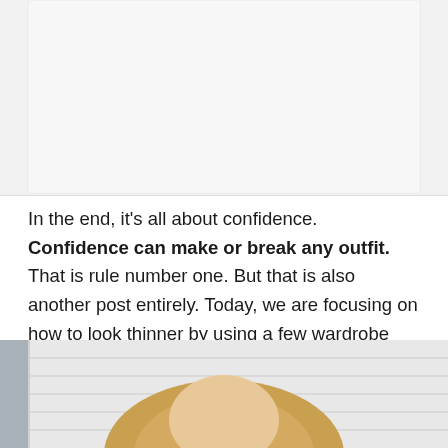[Figure (photo): Top portion of a photo, mostly white/light background, appears to be a cropped image]
In the end, it’s all about confidence. Confidence can make or break any outfit. That is rule number one. But that is also another post entirely. Today, we are focusing on how to look thinner by using a few wardrobe tricks.
[Figure (photo): Bottom portion of page showing a woman with blonde hair standing in front of a house with shutters and a wooden door]